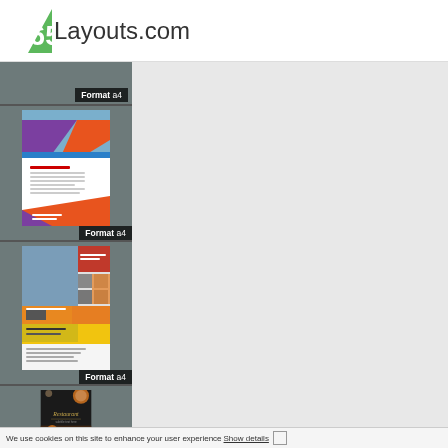365Layouts.com
[Figure (screenshot): First thumbnail item showing empty gray area with Format a4 label]
Format a4
[Figure (screenshot): Second thumbnail showing a colorful A4 brochure with beach image, purple/orange/blue diagonal shapes]
Format a4
[Figure (screenshot): Third thumbnail showing a colorful flyer with city/coastal photo and red/yellow/orange sections with logo area]
Format a4
[Figure (screenshot): Fourth thumbnail showing a dark restaurant menu with gold text 'Restaurant' and food images]
We use cookies on this site to enhance your user experience Show details